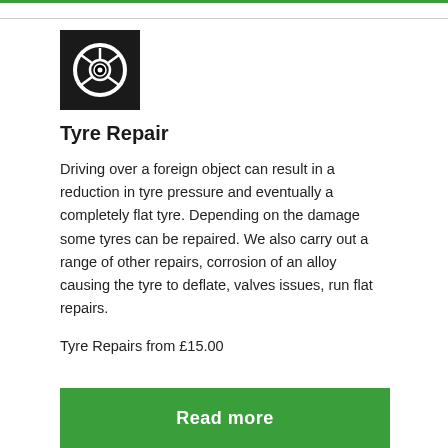[Figure (logo): Black square icon with a stylized tyre/wheel graphic (star-spoked tyre symbol in white)]
Tyre Repair
Driving over a foreign object can result in a reduction in tyre pressure and eventually a completely flat tyre. Depending on the damage some tyres can be repaired. We also carry out a range of other repairs, corrosion of an alloy causing the tyre to deflate, valves issues, run flat repairs.
Tyre Repairs from £15.00
[Figure (other): Green button with white bold text 'Read more']
[Figure (logo): Black square icon with a white mushroom/umbrella-like symbol, partially visible at bottom]